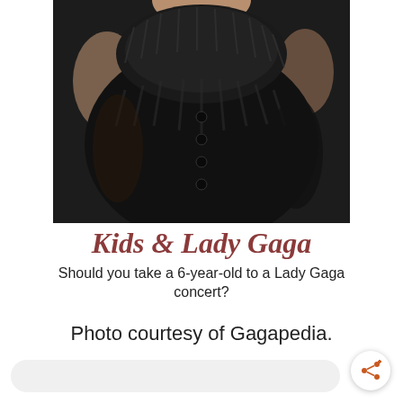[Figure (photo): Close-up photo of a person wearing a black feathery/furry outfit, cropped to show torso and collar area only, dark background]
Kids & Lady Gaga
Should you take a 6-year-old to a Lady Gaga concert?
Photo courtesy of Gagapedia.